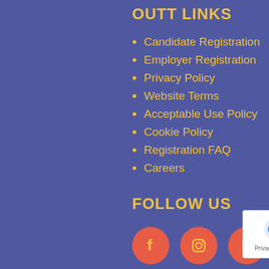OUTT LINKS
Candidate Registration
Employer Registration
Privacy Policy
Website Terms
Acceptable Use Policy
Cookie Policy
Registration FAQ
Careers
FOLLOW US
[Figure (infographic): Four social media icon circles (Facebook, Instagram, LinkedIn, YouTube) in coral/red color with yellow icons, and a reCAPTCHA badge in the bottom right corner]